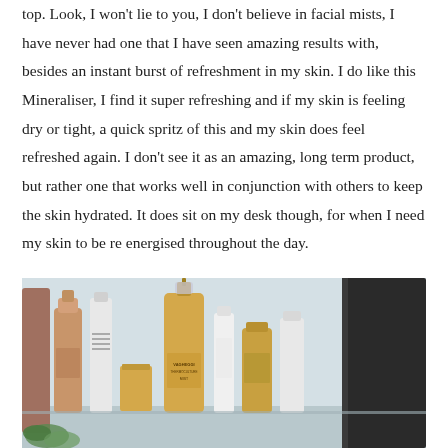top. Look, I won't lie to you, I don't believe in facial mists, I have never had one that I have seen amazing results with, besides an instant burst of refreshment in my skin. I do like this Mineraliser, I find it super refreshing and if my skin is feeling dry or tight, a quick spritz of this and my skin does feel refreshed again. I don't see it as an amazing, long term product, but rather one that works well in conjunction with others to keep the skin hydrated. It does sit on my desk though, for when I need my skin to be re energised throughout the day.
[Figure (photo): Photo of skincare products including a golden/amber coloured spray bottle labeled VAGHEGGI and other skincare bottles arranged on a surface with a light blue background.]